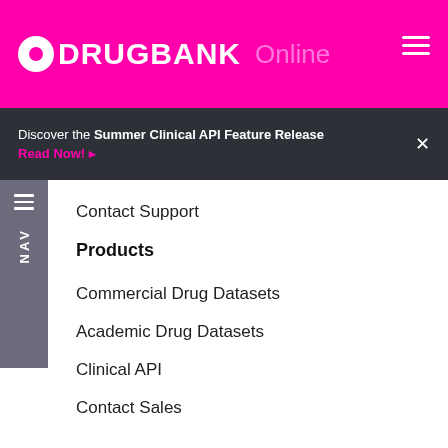DRUGBANK Online
Discover the Summer Clinical API Feature Release Read Now!
Contact Support
Products
Commercial Drug Datasets
Academic Drug Datasets
Clinical API
Contact Sales
[Figure (illustration): Social media icons: LinkedIn, Twitter, Facebook]
Website design by Educe Design & Innovation Inc.